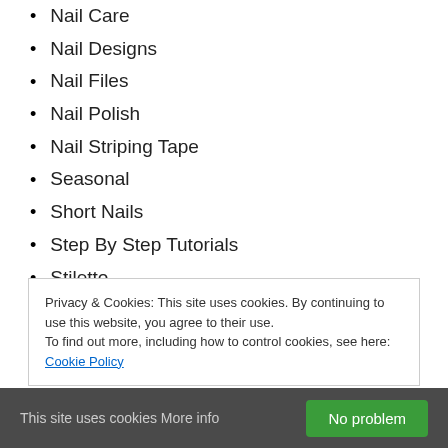Nail Care
Nail Designs
Nail Files
Nail Polish
Nail Striping Tape
Seasonal
Short Nails
Step By Step Tutorials
Stiletto
Toe Nails
Tutorials
Video Tutorials
Wedding
Privacy & Cookies: This site uses cookies. By continuing to use this website, you agree to their use.
To find out more, including how to control cookies, see here: Cookie Policy
This site uses cookies More info
No problem